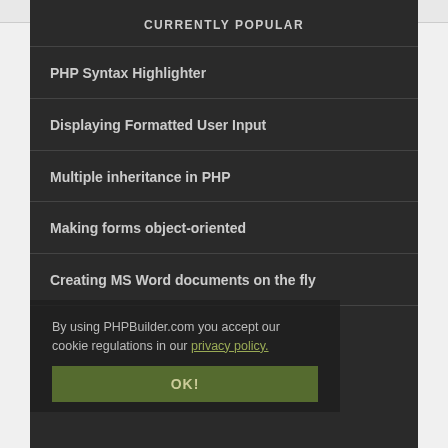CURRENTLY POPULAR
PHP Syntax Highlighter
Displaying Formatted User Input
Multiple inheritance in PHP
Making forms object-oriented
Creating MS Word documents on the fly
By using PHPBuilder.com you accept our cookie regulations in our privacy policy.
OK!